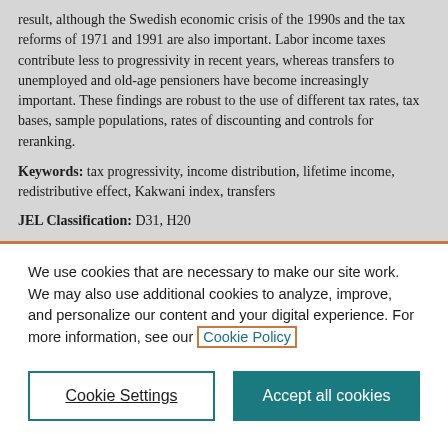result, although the Swedish economic crisis of the 1990s and the tax reforms of 1971 and 1991 are also important. Labor income taxes contribute less to progressivity in recent years, whereas transfers to unemployed and old-age pensioners have become increasingly important. These findings are robust to the use of different tax rates, tax bases, sample populations, rates of discounting and controls for reranking.
Keywords: tax progressivity, income distribution, lifetime income, redistributive effect, Kakwani index, transfers
JEL Classification: D31, H20
We use cookies that are necessary to make our site work. We may also use additional cookies to analyze, improve, and personalize our content and your digital experience. For more information, see our Cookie Policy
Cookie Settings
Accept all cookies